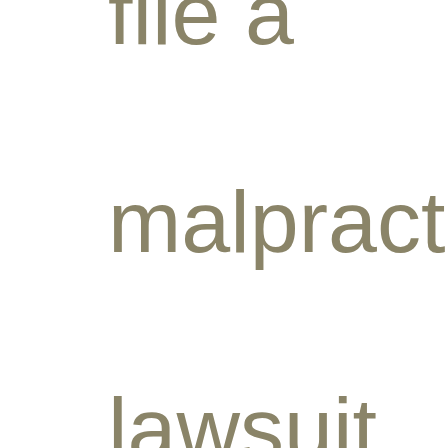file a malpractice lawsuit against her dentist,